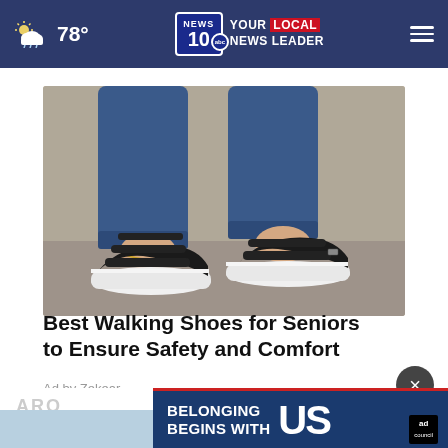NEWS10 YOUR LOCAL NEWS LEADER | 78°
[Figure (photo): Close-up photo of a person wearing black strapped walking sandals with white soles and jeans, with an anklet visible]
Best Walking Shoes for Seniors to Ensure Safety and Comfort
Ad by Zekear
[Figure (infographic): Bottom advertisement banner: 'BELONGING BEGINS WITH US' with Ad Council badge, overlaid with a dark close (×) button. Partial 'ARO' text visible on the left with a Taboola logo circle.]